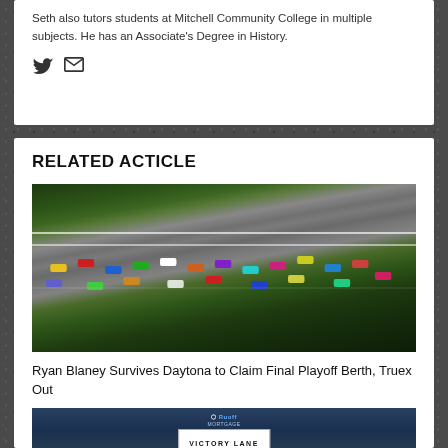Seth also tutors students at Mitchell Community College in multiple subjects. He has an Associate's Degree in History.
[Figure (illustration): Twitter and email social media icons]
RELATED ACTICLE
[Figure (photo): Aerial view of NASCAR race cars on a track at Daytona, multiple colorful cars racing on the asphalt with green infield visible]
Ryan Blaney Survives Daytona to Claim Final Playoff Berth, Truex Out
[Figure (photo): Victory Lane sign with Ruoff Mortgage branding at the bottom of the page]